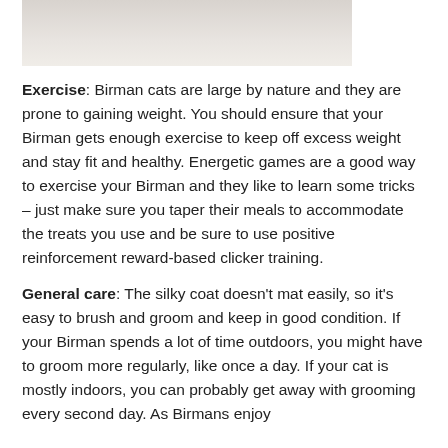[Figure (photo): Partial photo of a Birman cat, light-colored fur visible at top of page]
Exercise: Birman cats are large by nature and they are prone to gaining weight. You should ensure that your Birman gets enough exercise to keep off excess weight and stay fit and healthy. Energetic games are a good way to exercise your Birman and they like to learn some tricks – just make sure you taper their meals to accommodate the treats you use and be sure to use positive reinforcement reward-based clicker training.
General care: The silky coat doesn't mat easily, so it's easy to brush and groom and keep in good condition. If your Birman spends a lot of time outdoors, you might have to groom more regularly, like once a day. If your cat is mostly indoors, you can probably get away with grooming every second day. As Birmans enjoy